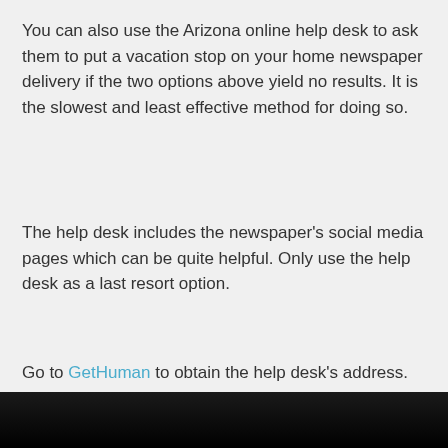You can also use the Arizona online help desk to ask them to put a vacation stop on your home newspaper delivery if the two options above yield no results. It is the slowest and least effective method for doing so.
The help desk includes the newspaper's social media pages which can be quite helpful. Only use the help desk as a last resort option.
Go to GetHuman to obtain the help desk's address.
[Figure (photo): Dark/black bar at the bottom of the page, appears to be a cropped image with very dark background.]